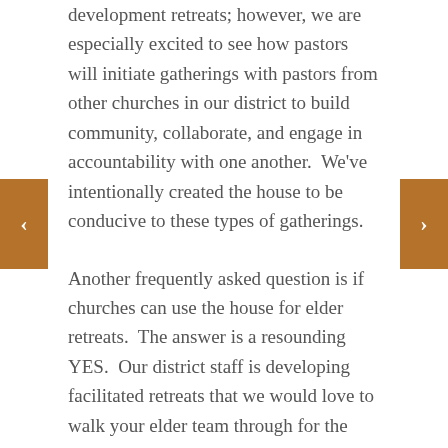development retreats; however, we are especially excited to see how pastors will initiate gatherings with pastors from other churches in our district to build community, collaborate, and engage in accountability with one another.  We've intentionally created the house to be conducive to these types of gatherings.
Another frequently asked question is if churches can use the house for elder retreats.  The answer is a resounding YES.  Our district staff is developing facilitated retreats that we would love to walk your elder team through for the